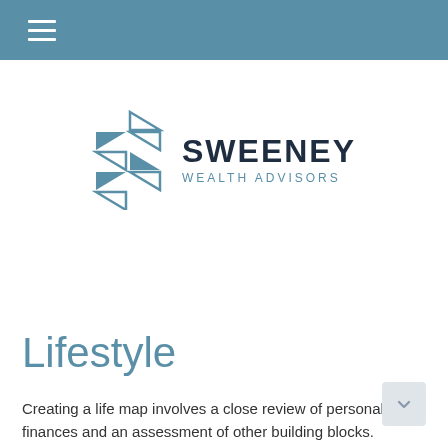[Figure (logo): Sweeney Wealth Advisors logo with geometric triangular symbol in steel blue and company name in dark navy with 'WEALTH ADVISORS' subtitle in steel blue]
Lifestyle
Creating a life map involves a close review of personal finances and an assessment of other building blocks. Lifestyle